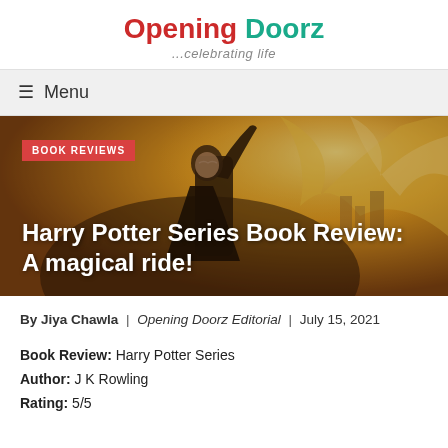Opening Doorz ...celebrating life
≡ Menu
[Figure (illustration): Hero banner image showing Harry Potter artwork with golden/orange tones, featuring a wizard figure raising a wand, with 'BOOK REVIEWS' badge and title overlay text: 'Harry Potter Series Book Review: A magical ride!']
BOOK REVIEWS
Harry Potter Series Book Review: A magical ride!
By Jiya Chawla | Opening Doorz Editorial | July 15, 2021
Book Review: Harry Potter Series
Author: J K Rowling
Rating: 5/5